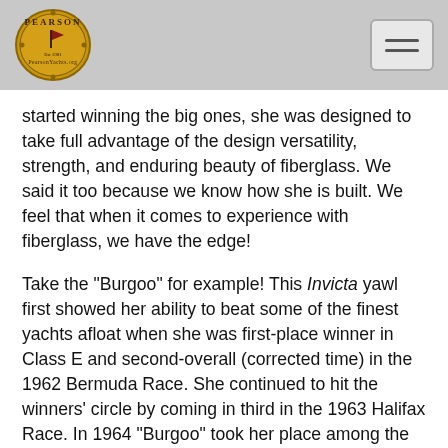Pearson Yachts logo and navigation
started winning the big ones, she was designed to take full advantage of the design versatility, strength, and enduring beauty of fiberglass. We said it too because we know how she is built. We feel that when it comes to experience with fiberglass, we have the edge!
Take the "Burgoo" for example! This Invicta yawl first showed her ability to beat some of the finest yachts afloat when she was first-place winner in Class E and second-overall (corrected time) in the 1962 Bermuda Race. She continued to hit the winners' circle by coming in third in the 1963 Halifax Race. In 1964 "Burgoo" took her place among the world's finest ocean racers with a brilliant first in the Newport-to-Bermuda classic... the first fiberglass boat to ever win it!